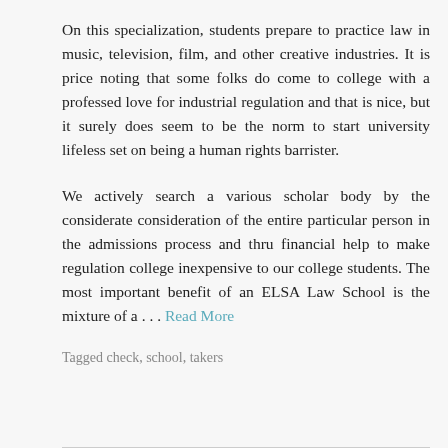On this specialization, students prepare to practice law in music, television, film, and other creative industries. It is price noting that some folks do come to college with a professed love for industrial regulation and that is nice, but it surely does seem to be the norm to start university lifeless set on being a human rights barrister.
We actively search a various scholar body by the considerate consideration of the entire particular person in the admissions process and thru financial help to make regulation college inexpensive to our college students. The most important benefit of an ELSA Law School is the mixture of a . . . Read More
Tagged check, school, takers